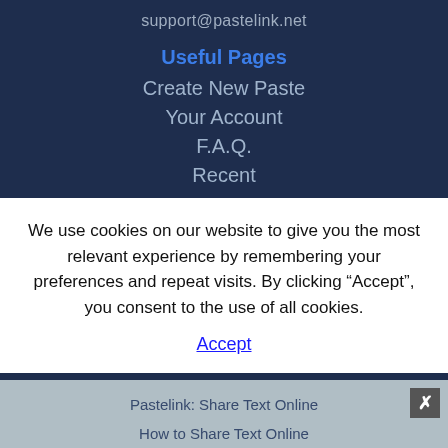support@pastelink.net
Useful Pages
Create New Paste
Your Account
F.A.Q.
Recent
We use cookies on our website to give you the most relevant experience by remembering your preferences and repeat visits. By clicking “Accept”, you consent to the use of all cookies.
Accept
Articles
Pastelink: Share Text Online
How to Share Text Online